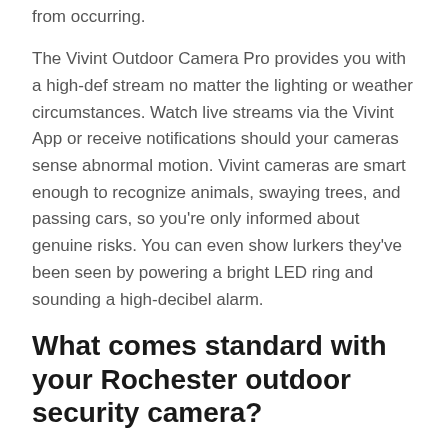from occurring.
The Vivint Outdoor Camera Pro provides you with a high-def stream no matter the lighting or weather circumstances. Watch live streams via the Vivint App or receive notifications should your cameras sense abnormal motion. Vivint cameras are smart enough to recognize animals, swaying trees, and passing cars, so you're only informed about genuine risks. You can even show lurkers they've been seen by powering a bright LED ring and sounding a high-decibel alarm.
What comes standard with your Rochester outdoor security camera?
Your Rochester outdoor security cameras are an integral part of your home security infrastructure. With